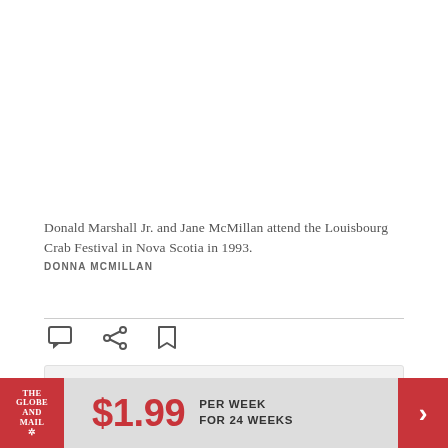[Figure (photo): Photo placeholder area - image of Donald Marshall Jr. and Jane McMillan at Louisbourg Crab Festival, Nova Scotia, 1993]
Donald Marshall Jr. and Jane McMillan attend the Louisbourg Crab Festival in Nova Scotia in 1993.
DONNA MCMILLAN
[Figure (infographic): Subscription advertisement: The Globe and Mail $1.99 per week for 24 weeks]